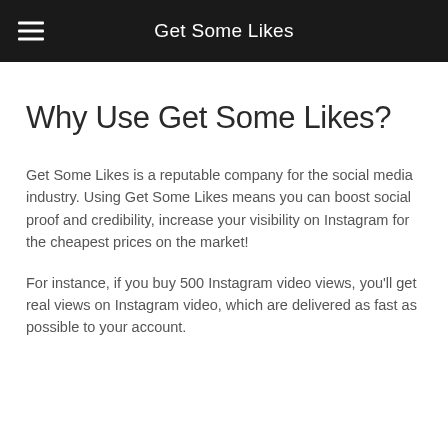Get Some Likes
Why Use Get Some Likes?
Get Some Likes is a reputable company for the social media industry. Using Get Some Likes means you can boost social proof and credibility, increase your visibility on Instagram for the cheapest prices on the market!
For instance, if you buy 500 Instagram video views, you'll get real views on Instagram video, which are delivered as fast as possible to your account.